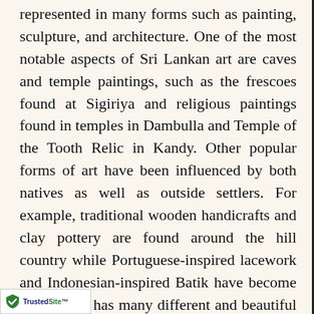represented in many forms such as painting, sculpture, and architecture. One of the most notable aspects of Sri Lankan art are caves and temple paintings, such as the frescoes found at Sigiriya and religious paintings found in temples in Dambulla and Temple of the Tooth Relic in Kandy. Other popular forms of art have been influenced by both natives as well as outside settlers. For example, traditional wooden handicrafts and clay pottery are found around the hill country while Portuguese-inspired lacework and Indonesian-inspired Batik have become notable. Its has many different and beautiful drawings.
People in Sri Lanka love the performing arts. The main style of performance is Bollywood. The single biggest influences on Sri Lankan
[Figure (logo): TrustedSite logo with green checkmark shield]